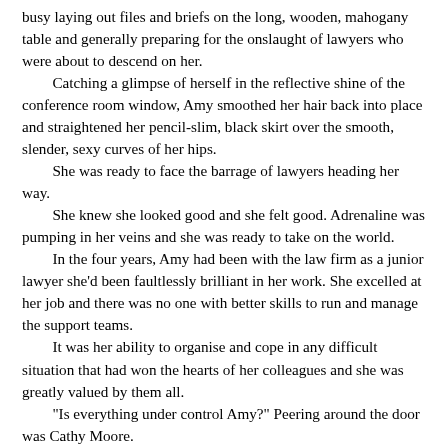busy laying out files and briefs on the long, wooden, mahogany table and generally preparing for the onslaught of lawyers who were about to descend on her.
	Catching a glimpse of herself in the reflective shine of the conference room window, Amy smoothed her hair back into place and straightened her pencil-slim, black skirt over the smooth, slender, sexy curves of her hips.
	She was ready to face the barrage of lawyers heading her way.
	She knew she looked good and she felt good. Adrenaline was pumping in her veins and she was ready to take on the world.
	In the four years, Amy had been with the law firm as a junior lawyer she'd been faultlessly brilliant in her work. She excelled at her job and there was no one with better skills to run and manage the support teams.
	It was her ability to organise and cope in any difficult situation that had won the hearts of her colleagues and she was greatly valued by them all.
	“Is everything under control Amy?” Peering around the door was Cathy Moore.
	Cathy was one of the female partners who had also become a good friend of Amy’s.
	“Sure…everything’s fine. Why what’s up?” Amy asked.
	“The American’s here. The whole place is buzzing with the